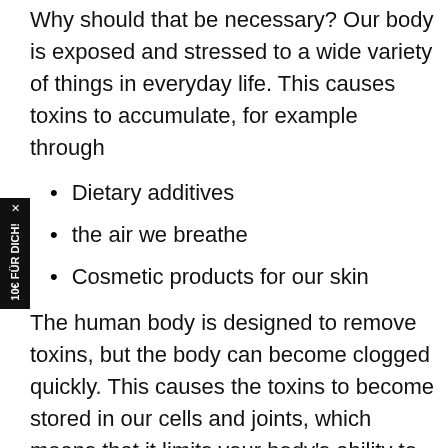Why should that be necessary? Our body is exposed and stressed to a wide variety of things in everyday life. This causes toxins to accumulate, for example through
Dietary additives
the air we breathe
Cosmetic products for our skin
The human body is designed to remove toxins, but the body can become clogged quickly. This causes the toxins to become stored in our cells and joints, which means that it limits your body's ability to function properly and to heal itself.